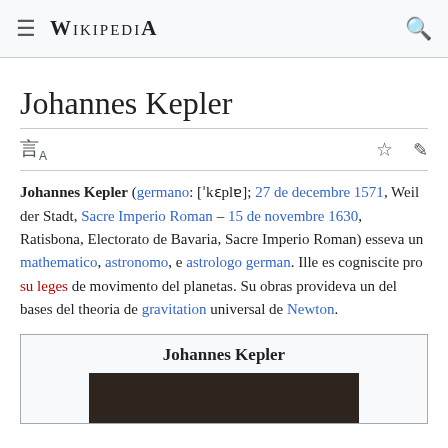≡ WIKIPEDIA 🔍
Johannes Kepler
Johannes Kepler (germano: ['kɛplɐ]; 27 de decembre 1571, Weil der Stadt, Sacre Imperio Roman – 15 de novembre 1630, Ratisbona, Electorato de Bavaria, Sacre Imperio Roman) esseva un mathematico, astronomo, e astrologo german. Ille es cogniscite pro su leges de movimento del planetas. Su obras provideva un del bases del theoria de gravitation universal de Newton.
| Johannes Kepler |
| --- |
| [portrait image] |